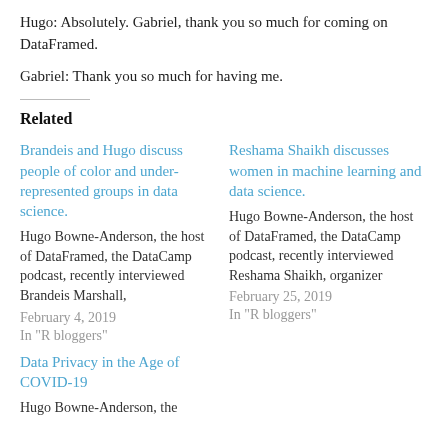Hugo: Absolutely. Gabriel, thank you so much for coming on DataFramed.
Gabriel: Thank you so much for having me.
Related
Brandeis and Hugo discuss people of color and under-represented groups in data science.
Hugo Bowne-Anderson, the host of DataFramed, the DataCamp podcast, recently interviewed Brandeis Marshall,
February 4, 2019
In "R bloggers"
Reshama Shaikh discusses women in machine learning and data science.
Hugo Bowne-Anderson, the host of DataFramed, the DataCamp podcast, recently interviewed Reshama Shaikh, organizer
February 25, 2019
In "R bloggers"
Data Privacy in the Age of COVID-19
Hugo Bowne-Anderson, the